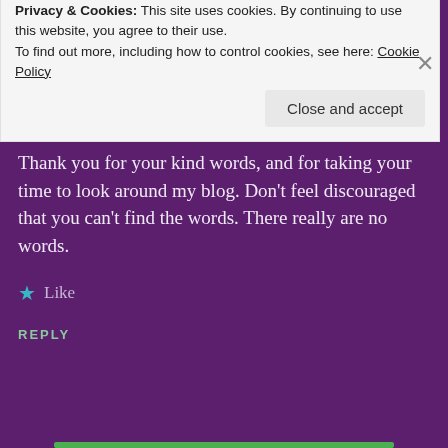[Figure (photo): Circular avatar photo of a person with dark hair wearing a plaid shirt, on a purple background]
Kade's mom
APRIL 7, 2016 AT 7:17 PM
Thank you for your kind words, and for taking your time to look around my blog. Don't feel discouraged that you can't find the words. There really are no words.
★ Like
REPLY
Privacy & Cookies: This site uses cookies. By continuing to use this website, you agree to their use.
To find out more, including how to control cookies, see here: Cookie Policy
Close and accept